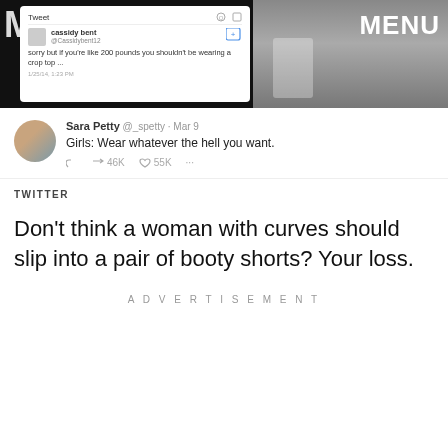[Figure (screenshot): Screenshot of a tweet from cassidy bent saying 'sorry but if you're like 200 pounds you shouldn't be wearing a crop top...' overlaid on dark background with MIC logo on left. Right side shows a person's lower body photo with 'MENU' text visible.]
[Figure (screenshot): Embedded tweet from Sara Petty (@_spetty) dated Mar 9 reading 'Girls: Wear whatever the hell you want.' with 46K retweets and 55K likes.]
TWITTER
Don't think a woman with curves should slip into a pair of booty shorts? Your loss.
ADVERTISEMENT